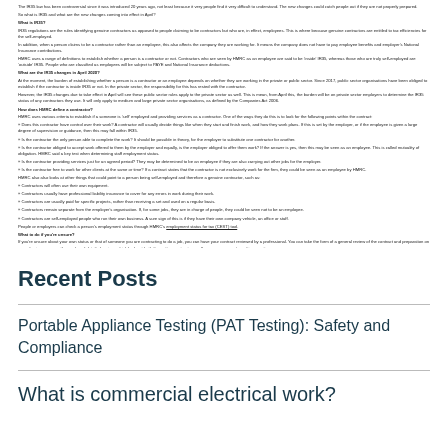The IR35 law has been controversial since it was introduced 20 years ago, not least because it very people find it very difficult to understand. The new changes could catch people out if they are not properly prepared.
So what is IR35 and what are the new changes coming into effect in April?
What is IR35?
IR35 regulations are the rules identifying genuine contractors as opposed to people claiming to be contractors but who are, in effect, employees. This is where because genuine contractors are entitled to tax efficiencies for the self-employed.
In addition, when a person claims to be a contractor rather than an employee, this also affects the company they are working for. It means the company does not have to pay employee benefits and employer's National Insurance contributions.
HMRC uses a range of definitions to establish whether a person is a contractor or not. Contractors who are seen by HMRC as an employee are said to be 'inside' IR35, whereas those who are truly self-employed are 'outside' IR35. People who are classified as employees will be subject to PAYE and National Insurance deductions.
What are the IR35 changes in April 2020?
At the moment, the burden of establishing whether a person is a contractor or an employee depends on whether they are working in the private or public sector. Since 2017, public sector organisations have been obliged to establish if the contractor is inside IR35 or not. In the private sector, the responsibility for this has rested with the contractor.
However, the IR35 changes due to take effect in April will see these public sector rules apply to the private sector as well. This is mean, from April this, the burden will be on private sector employers to determine the IR35 status of any contractors they use. It will only apply to medium and large private sector organisations, as defined by the Companies Act 2006.
How does HMRC define a contractor?
HMRC uses various criteria to establish if a someone is 'self' employed and providing services as a contractor. One of the ways they do this is to look for the following points within the contract:
Does this contractor have control over their work? A contractor will usually decide things like when they start and finish work, and how they work plans. If this is set by the employer, or if the employee is given a large degree of supervision or guidance, then this may fall within IR35.
Is the contractor the only person able to complete the work? It should be possible in theory, for the employer to substitute one contractor for another.
Is the contractor obliged to accept work offered to them by the employer and equally, is the employer obliged to offer them work? If the answer is yes, then this may be seen as an employee. This is called mutuality of obligation. HMRC said a key test when determining staff employment status.
Is the contractor providing services just for an agreed period? They may be determined to be an employee if they are also carrying out other jobs for the employer.
Is the contractor free to work for other clients at the same or time? If a contract states that the contractor is not exclusively work for the firm, they could be seen as an employee by HMRC.
HMRC also also looks at other things that could point to a person being self-employed and therefore a genuine contractor, such as:
Contractors will often use their own equipment.
Contractors usually have professional liability insurance to cover for any errors in work during their work.
Contractors are usually paid for specific projects, rather than receiving a set and used on a regular basis.
Contractors remain separate from the employer's organisation. If, for some jobs, they are in charge of people, they could be seen not to be an employee.
Contractors are self-employed people who run their own business. A sure sign of this is if they have their own company vehicle, an office or staff.
People or employers can check a person's employment status through HMRC's employment status for tax (CEST) tool.
What to do if you're unsure?
If you're unsure about your own status or that of someone you are contracting to do a job, you can have your contract reviewed by a professional. You can take the form of a general review of the contract and preparation on some basis, or a more thorough and detailed review, which looks at both the written contract as well as your company's working practices.
You could also look at taking out an insurance policy that would cover any risks of non-compliance with IR35. This includes a defence only policy, which would cover your fees for being on appeal to deal with an HMRC review, or a more defensive policy which will cover your legal expenses, statutory liabilities, income should there be a dispute about IR35 compliance.
Recent Posts
Portable Appliance Testing (PAT Testing): Safety and Compliance
What is commercial electrical work?